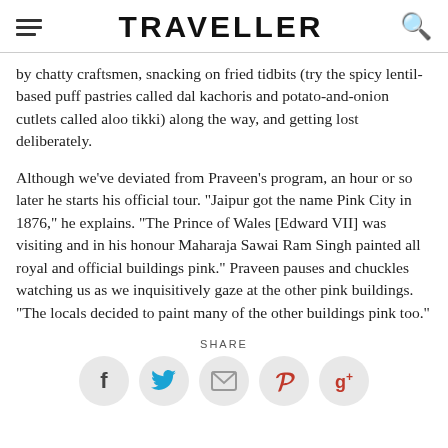TRAVELLER
by chatty craftsmen, snacking on fried tidbits (try the spicy lentil-based puff pastries called dal kachoris and potato-and-onion cutlets called aloo tikki) along the way, and getting lost deliberately.
Although we've deviated from Praveen's program, an hour or so later he starts his official tour. "Jaipur got the name Pink City in 1876," he explains. "The Prince of Wales [Edward VII] was visiting and in his honour Maharaja Sawai Ram Singh painted all royal and official buildings pink." Praveen pauses and chuckles watching us as we inquisitively gaze at the other pink buildings. "The locals decided to paint many of the other buildings pink too."
SHARE